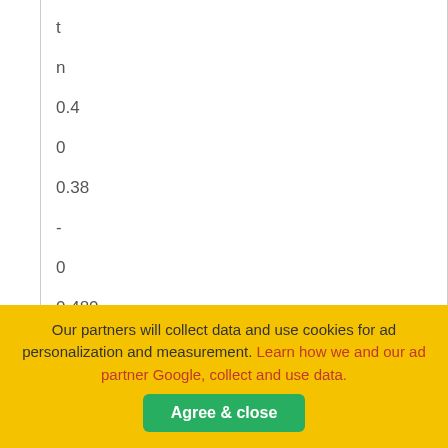| t | n | 0.4 | 0 | 0.38 | - | 0 | 0.480 | - | 0.2 |
| --- | --- | --- | --- | --- | --- | --- | --- | --- | --- |
Our partners will collect data and use cookies for ad personalization and measurement. Learn how we and our ad partner Google, collect and use data. Agree & close